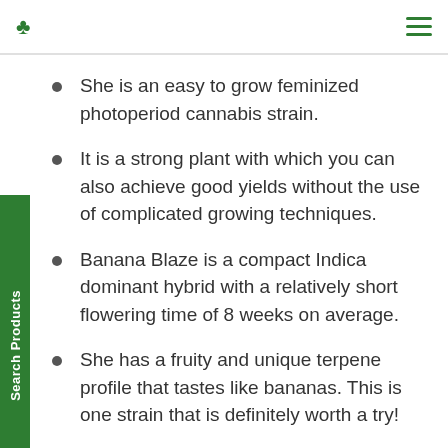Search Products
She is an easy to grow feminized photoperiod cannabis strain.
It is a strong plant with which you can also achieve good yields without the use of complicated growing techniques.
Banana Blaze is a compact Indica dominant hybrid with a relatively short flowering time of 8 weeks on average.
She has a fruity and unique terpene profile that tastes like bananas. This is one strain that is definitely worth a try!